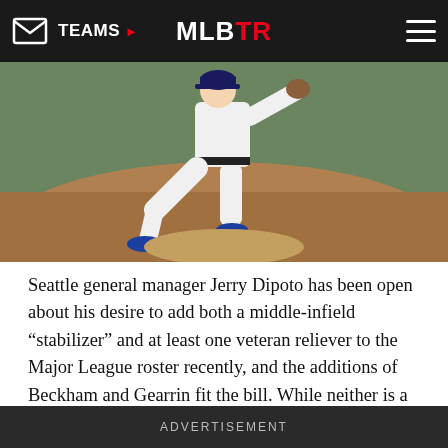TEAMS | MLBTR
[Figure (photo): Baseball pitcher in white uniform and blue cleats mid-delivery on a mound]
Seattle general manager Jerry Dipoto has been open about his desire to add both a middle-infield “stabilizer” and at least one veteran reliever to the Major League roster recently, and the additions of Beckham and Gearrin fit the bill. While neither is a particularly exciting addition, they’re the type of moves one would expect for an organization that is currently in the midst of
ADVERTISEMENT